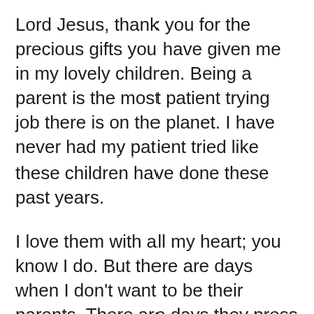Lord Jesus, thank you for the precious gifts you have given me in my lovely children. Being a parent is the most patient trying job there is on the planet. I have never had my patient tried like these children have done these past years.
I love them with all my heart; you know I do. But there are days when I don't want to be their parents. There are days they press my button so hard that I am tempted to do things I will regret.
I am trying to remain patient with them, but my patience is wearing out. So, I come to you asking that you will help me else I may be tempted to